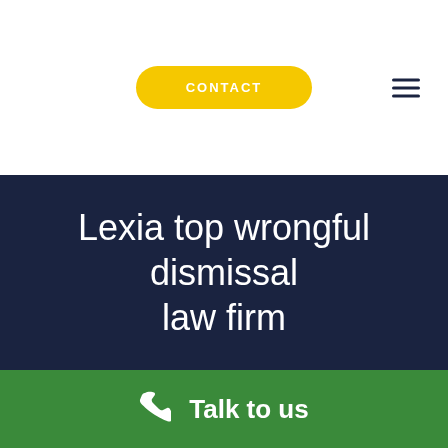[Figure (screenshot): Navigation bar with yellow CONTACT button and hamburger menu icon on white background]
Lexia top wrongful dismissal law firm
Talk to us